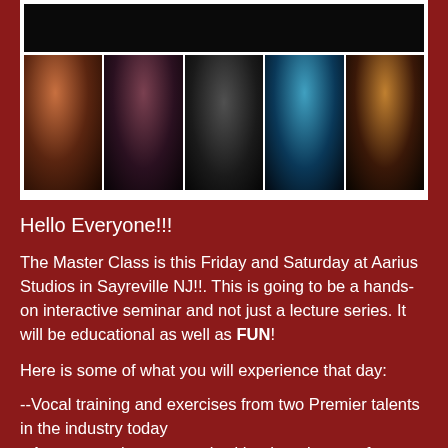[Figure (photo): Collage of five performance/portrait photos of musicians and singers on a dark background with a white border frame]
Hello Everyone!!!
The Master Class is this Friday and Saturday at Aarius Studios in Sayreville NJ!!. This is going to be a hands-on interactive seminar and not just a lecture series. It will be educational as well as FUN!
Here is some of what you will experience that day:
--Vocal training and exercises from two Premier talents in the industry today
--An opportunity to network with other singers of varying levels of proficiency
--A tour of one of the premier Studios in the area
--A question and answer session with Greg and Corey after